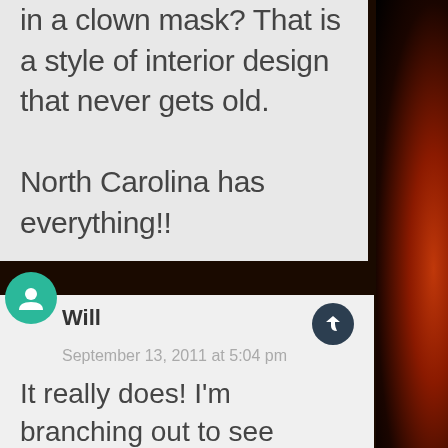eyes of a six year old killer in a clown mask? That is a style of interior design that never gets old.

North Carolina has everything!!
Will
September 13, 2011 at 5:04 pm
It really does! I'm branching out to see